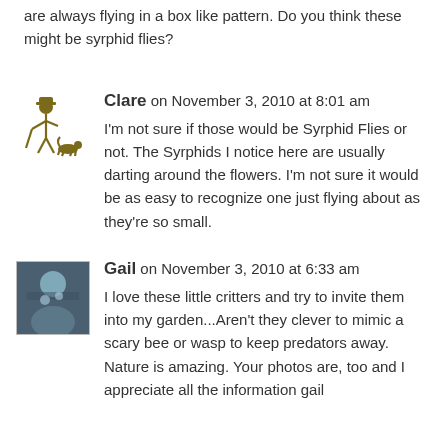are always flying in a box like pattern. Do you think these might be syrphid flies?
Clare on November 3, 2010 at 8:01 am
I'm not sure if those would be Syrphid Flies or not. The Syrphids I notice here are usually darting around the flowers. I'm not sure it would be as easy to recognize one just flying about as they're so small.
Gail on November 3, 2010 at 6:33 am
I love these little critters and try to invite them into my garden...Aren't they clever to mimic a scary bee or wasp to keep predators away. Nature is amazing. Your photos are, too and I appreciate all the information gail